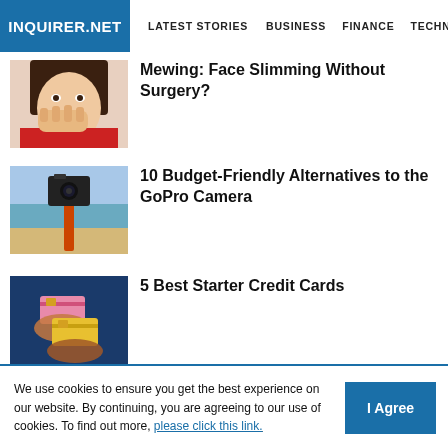INQUIRER.NET | LATEST STORIES | BUSINESS | FINANCE | TECHNOLO
[Figure (photo): Young woman in red covering her mouth with hand - article thumbnail for Mewing face slimming]
Mewing: Face Slimming Without Surgery?
[Figure (photo): Action camera on selfie stick at beach - article thumbnail for GoPro alternatives]
10 Budget-Friendly Alternatives to the GoPro Camera
[Figure (photo): Two hands holding credit cards on blue background - article thumbnail for starter credit cards]
5 Best Starter Credit Cards
We use cookies to ensure you get the best experience on our website. By continuing, you are agreeing to our use of cookies. To find out more, please click this link.